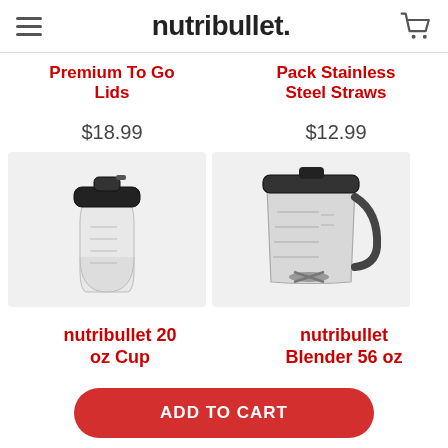nutribullet.
Premium To Go Lids
$18.99
Pack Stainless Steel Straws
$12.99
[Figure (photo): nutribullet 20 oz cup with black to-go lid, clear plastic body on light gray background]
[Figure (photo): nutribullet blender 56 oz pitcher with dark lid and handle, clear plastic body, visible blades inside, on light gray background]
nutribullet 20 oz Cup
nutribullet Blender 56 oz
ADD TO CART